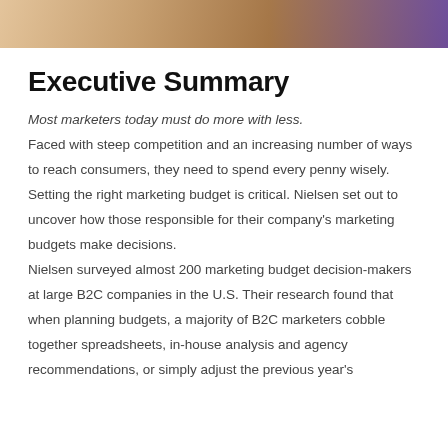[Figure (photo): Partial photo strip at top of page showing hands and a dark background, cropped]
Executive Summary
Most marketers today must do more with less. Faced with steep competition and an increasing number of ways to reach consumers, they need to spend every penny wisely. Setting the right marketing budget is critical. Nielsen set out to uncover how those responsible for their company's marketing budgets make decisions.
Nielsen surveyed almost 200 marketing budget decision-makers at large B2C companies in the U.S. Their research found that when planning budgets, a majority of B2C marketers cobble together spreadsheets, in-house analysis and agency recommendations, or simply adjust the previous year's